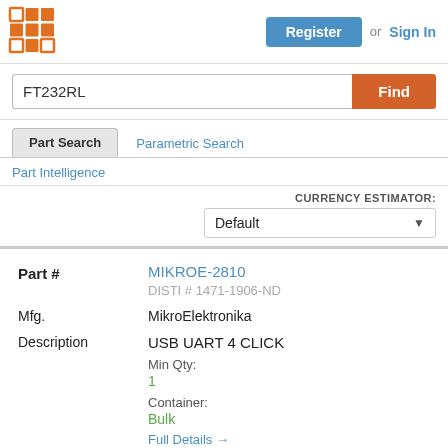[Figure (logo): Orange grid/dots logo icon]
Register   or   Sign In
FT232RL
Find
Part Search   Parametric Search
Part Intelligence
CURRENCY ESTIMATOR:
Default
Part #
MIKROE-2810
DISTI # 1471-1906-ND
Mfg.
MikroElektronika
Description
USB UART 4 CLICK
Min Qty:
1
Container:
Bulk
Full Details →